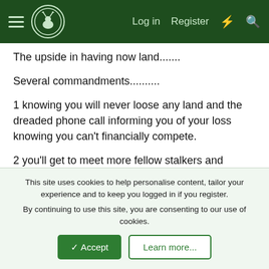Log in  Register
The upside in having now land.......
Several commandments..........
1 knowing you will never loose any land and the dreaded phone call informing you of your loss knowing you can't financially compete.
2 you'll get to meet more fellow stalkers and explore more of this gorgeous country side we have.
3 you get to learn and share different methods
4 you'll never throw the towel in.
This site uses cookies to help personalise content, tailor your experience and to keep you logged in if you register.
By continuing to use this site, you are consenting to our use of cookies.